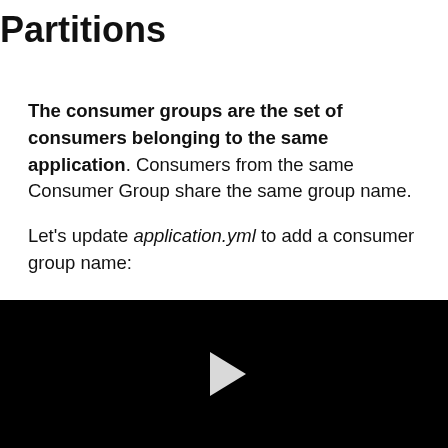Partitions
The consumer groups are the set of consumers belonging to the same application. Consumers from the same Consumer Group share the same group name.

Let's update application.yml to add a consumer group name:
[Figure (screenshot): Black video player area with a white triangular play button in the center]